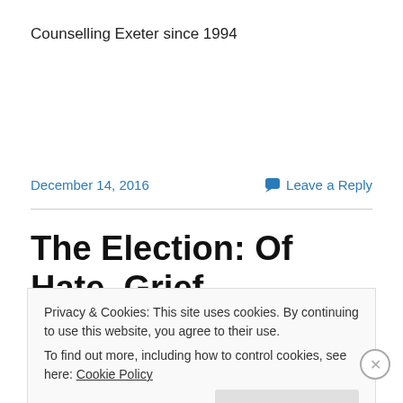Counselling Exeter since 1994
December 14, 2016   Leave a Reply
The Election: Of Hate, Grief,
Privacy & Cookies: This site uses cookies. By continuing to use this website, you agree to their use.
To find out more, including how to control cookies, see here: Cookie Policy
Close and accept